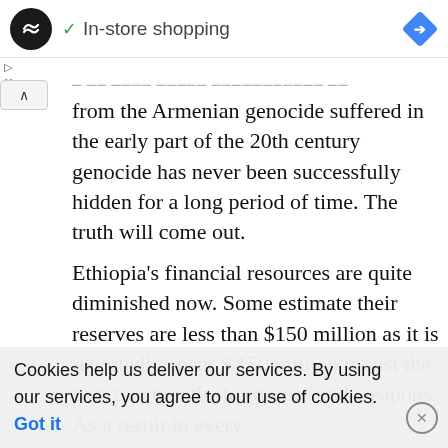[Figure (screenshot): Ad bar with circular black logo with double arrow icon, green checkmark and 'In-store shopping' text, blue diamond navigation arrow on right]
from the Armenian genocide suffered in the early part of the 20th century genocide has never been successfully hidden for a long period of time. The truth will come out.
Ethiopia's financial resources are quite diminished now. Some estimate their reserves are less than $150 million as it is reportedly spent $ 150 million in just the past two months for drones and weapons. As a result in every
Cookies help us deliver our services. By using our services, you agree to our use of cookies. Got it